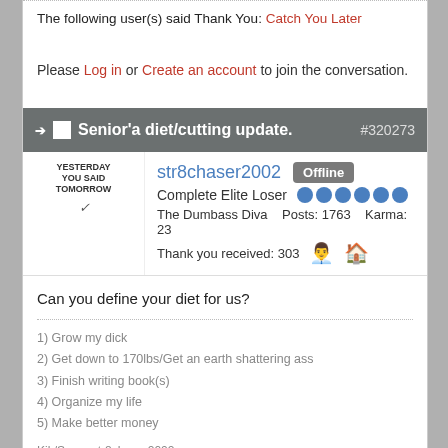The following user(s) said Thank You: Catch You Later
Please Log in or Create an account to join the conversation.
Senior'a diet/cutting update. #320273
str8chaser2002 Offline
Complete Elite Loser
The Dumbass Diva Posts: 1763 Karma: 23
Thank you received: 303
Can you define your diet for us?
1) Grow my dick
2) Get down to 170lbs/Get an earth shattering ass
3) Finish writing book(s)
4) Organize my life
5) Make better money
Kik/Snap: str8chaser2002